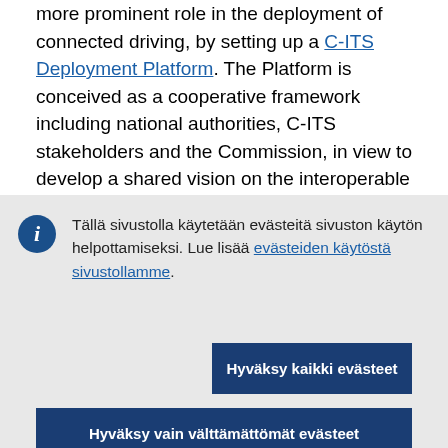more prominent role in the deployment of connected driving, by setting up a C-ITS Deployment Platform. The Platform is conceived as a cooperative framework including national authorities, C-ITS stakeholders and the Commission, in view to develop a shared vision on the interoperable deployment of C-ITS in the EU. Hence, it is expected to provide policy recommendations for the development of a roadmap and a deployment strategy for
Tällä sivustolla käytetään evästeitä sivuston käytön helpottamiseksi. Lue lisää evästeiden käytöstä sivustollamme.
Hyväksy kaikki evästeet
Hyväksy vain välttämättömät evästeet